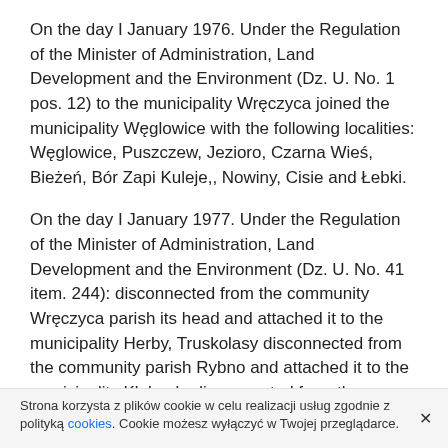On the day I January 1976. Under the Regulation of the Minister of Administration, Land Development and the Environment (Dz. U. No. 1 pos. 12) to the municipality Wręczyca joined the municipality Węglowice with the following localities: Węglowice, Puszczew, Jezioro, Czarna Wieś, Bieżeń, Bór Zapi Kuleje,, Nowiny, Cisie and Łebki.
On the day I January 1977. Under the Regulation of the Minister of Administration, Land Development and the Environment (Dz. U. No. 41 item. 244): disconnected from the community Wręczyca parish its head and attached it to the municipality Herby, Truskolasy disconnected from the community parish Rybno and attached it to the municipality Kłobuck. disconnected from the community Wręczyca parish Tionz, which was annexed to the municipality
Strona korzysta z plików cookie w celu realizacji usług zgodnie z polityką cookies. Cookie możesz wyłączyć w Twojej przeglądarce.